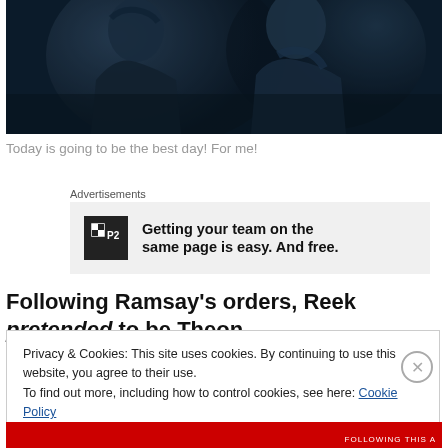[Figure (screenshot): Dark blue-toned cinematic still showing two people, appearing to be from a TV show or film. The scene has dramatic lighting with dark shadows.]
Today is going to be the best day! For me!
Advertisements
[Figure (infographic): Advertisement for P2 project management tool. Logo shows a grid icon with 'P2' text. Ad text reads: Getting your team on the same page is easy. And free.]
Following Ramsay's orders, Reek pretended to be Theon
Privacy & Cookies: This site uses cookies. By continuing to use this website, you agree to their use.
To find out more, including how to control cookies, see here: Cookie Policy
Close and accept